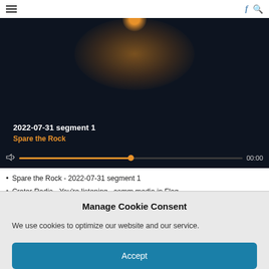≡  f 🔍
[Figure (screenshot): Dark media player interface showing an orange glowing light effect against a dark navy background, with audio title '2022-07-31 segment 1', subtitle 'Spare the Rock', and an audio scrubber progress bar showing 00:00]
Spare the Rock - 2022-07-31 segment 1
Crater Radio - You're listening...comm media in Flag
Crater Radio - PN2224 7 30 22 QAN Alabama Manchin Milk
Manage Cookie Consent
We use cookies to optimize our website and our service.
Accept